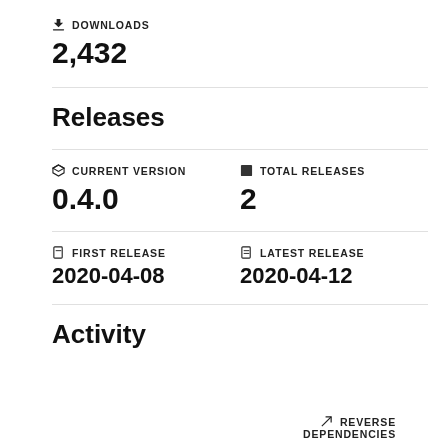DOWNLOADS
2,432
Releases
CURRENT VERSION
0.4.0
TOTAL RELEASES
2
FIRST RELEASE
2020-04-08
LATEST RELEASE
2020-04-12
Activity
REVERSE DEPENDENCIES